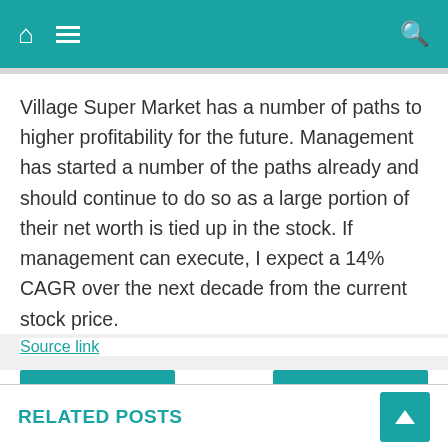Navigation bar with home, menu, and search icons
Village Super Market has a number of paths to higher profitability for the future. Management has started a number of the paths already and should continue to do so as a large portion of their net worth is tied up in the stock. If management can execute, I expect a 14% CAGR over the next decade from the current stock price.
Source link
◄ Sun Com...
Fed Rate ...
RELATED POSTS